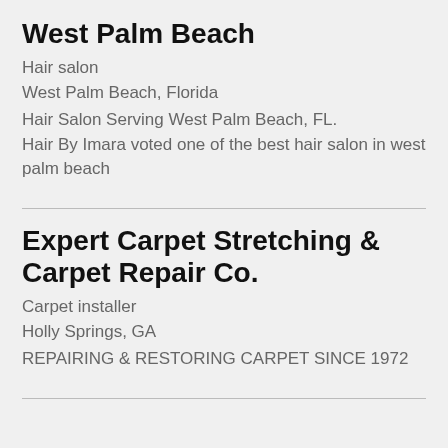West Palm Beach
Hair salon
West Palm Beach, Florida
Hair Salon Serving West Palm Beach, FL. Hair By Imara voted one of the best hair salon in west palm beach
Expert Carpet Stretching & Carpet Repair Co.
Carpet installer
Holly Springs, GA
REPAIRING & RESTORING CARPET SINCE 1972